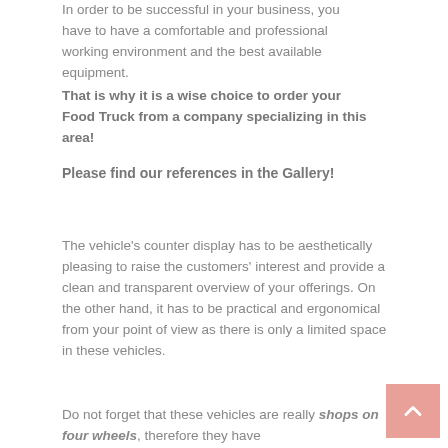In order to be successful in your business, you have to have a comfortable and professional working environment and the best available equipment. That is why it is a wise choice to order your Food Truck from a company specializing in this area!
Please find our references in the Gallery!
The vehicle's counter display has to be aesthetically pleasing to raise the customers' interest and provide a clean and transparent overview of your offerings. On the other hand, it has to be practical and ergonomical from your point of view as there is only a limited space in these vehicles.
Do not forget that these vehicles are really shops on four wheels, therefore they have